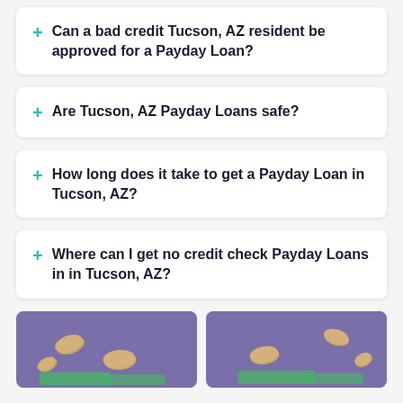+ Can a bad credit Tucson, AZ resident be approved for a Payday Loan?
+ Are Tucson, AZ Payday Loans safe?
+ How long does it take to get a Payday Loan in Tucson, AZ?
+ Where can I get no credit check Payday Loans in in Tucson, AZ?
[Figure (photo): Two purple-background image panels showing coins and cash floating, displayed side by side at the bottom of the page.]